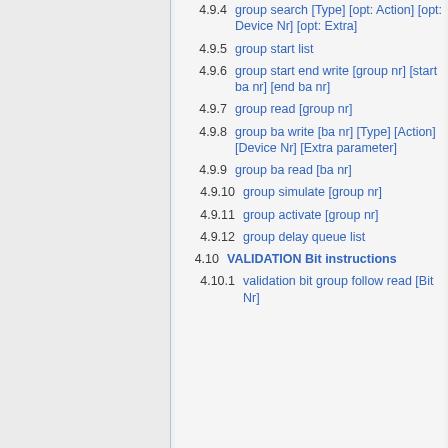4.9.4 group search [Type] [opt: Action] [opt: Device Nr] [opt: Extra]
4.9.5 group start list
4.9.6 group start end write [group nr] [start ba nr] [end ba nr]
4.9.7 group read [group nr]
4.9.8 group ba write [ba nr] [Type] [Action] [Device Nr] [Extra parameter]
4.9.9 group ba read [ba nr]
4.9.10 group simulate [group nr]
4.9.11 group activate [group nr]
4.9.12 group delay queue list
4.10 VALIDATION Bit instructions
4.10.1 validation bit group follow read [Bit Nr]